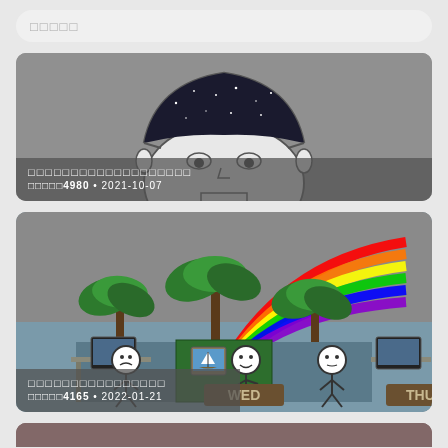□□□□□
[Figure (illustration): Comic-style illustration of a bald cartoon face with open top of head revealing a starry night sky, gray background, overlaid with semi-transparent dark footer showing title and metadata.]
□□□□□□□□□□□□□□□□□□□
□□□□□4980 • 2021-10-07
[Figure (illustration): Comic-style office scene with stick figures at desks, a central green cubicle decorated with palm trees and a rainbow, labels WED and THU visible, overlaid with semi-transparent dark footer.]
□□□□□□□□□□□□□□□□
□□□□□4165 • 2022-01-21
[Figure (photo): Partially visible bottom card showing a reddish-brown image, cropped at page edge.]